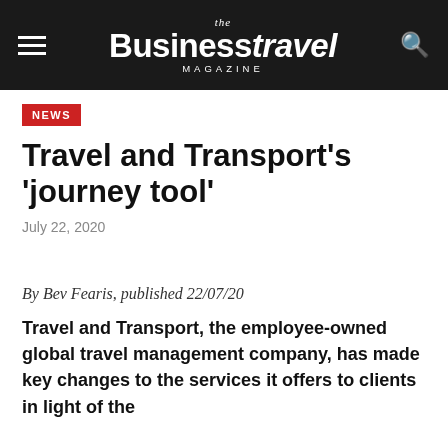the BusinessTravel MAGAZINE
NEWS
Travel and Transport's 'journey tool'
July 22, 2020
By Bev Fearis, published 22/07/20
Travel and Transport, the employee-owned global travel management company, has made key changes to the services it offers to clients in light of the